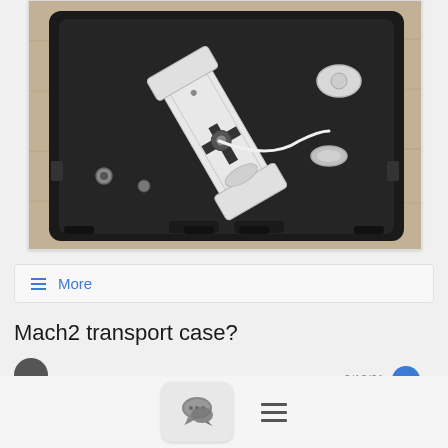[Figure (photo): A white telescope equatorial mount (Mach2) stored inside a black hard-shell transport case, viewed from above. The mount has a cross-shaped counterweight shaft and various mechanical components. The case is sitting on a granite or stone floor surface.]
≡ More
Mach2 transport case?
3/12/21